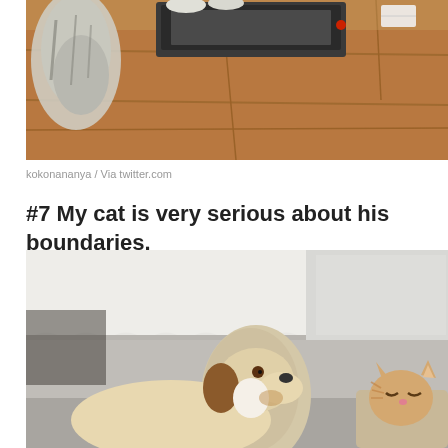[Figure (photo): Overhead view of a cat on a wooden floor next to a laptop bag or case, cat's fluffy tail and body visible from above]
kokonananya / Via twitter.com
#7 My cat is very serious about his boundaries.
[Figure (photo): A beagle dog sitting on a grey couch looking to the right, with a cat partially hidden behind a pillow on the same couch, with a white headboard or wall in the background]